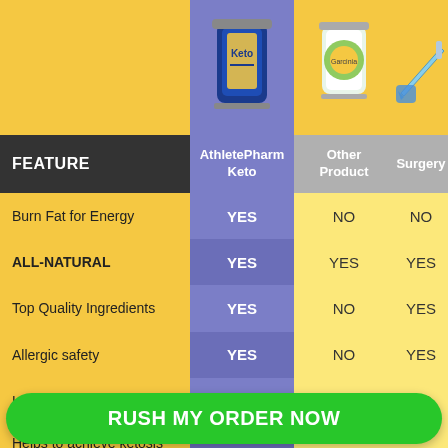[Figure (illustration): Product comparison header images: AthletePharm Keto supplement bottle (blue/yellow), Other Product (garcinia supplement with fruit), Surgery (syringe with blue glove icon)]
| FEATURE | AthletePharm Keto | Other Product | Surgery |
| --- | --- | --- | --- |
| Burn Fat for Energy | YES | NO | NO |
| ALL-NATURAL | YES | YES | YES |
| Top Quality Ingredients | YES | NO | YES |
| Allergic safety | YES | NO | YES |
| Leaves Stretched Skin | NO | YES | NO |
| Helps to achieve ketosis fast | YES | NO | NO |
RUSH MY ORDER NOW